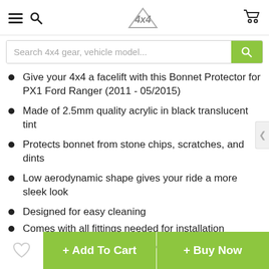4x4 gear shop header with menu, search, and cart icons
[Figure (screenshot): Search bar with placeholder 'Search 4x4 gear, vehicle model...' and green search button]
Give your 4x4 a facelift with this Bonnet Protector for PX1 Ford Ranger (2011 - 05/2015)
Made of 2.5mm quality acrylic in black translucent tint
Protects bonnet from stone chips, scratches, and dints
Low aerodynamic shape gives your ride a more sleek look
Designed for easy cleaning
Comes with all fittings needed for installation
🔥 1 other person is viewing this
+ Add To Cart  + Buy Now